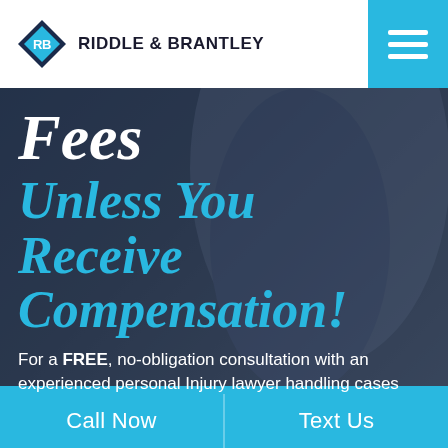[Figure (logo): Riddle & Brantley law firm logo with diamond RB icon and firm name]
Fees Unless You Receive Compensation!
For a FREE, no-obligation consultation with an experienced personal Injury lawyer handling cases across North Carolina, Request a FREE Consultation today!
Call Now | Text Us